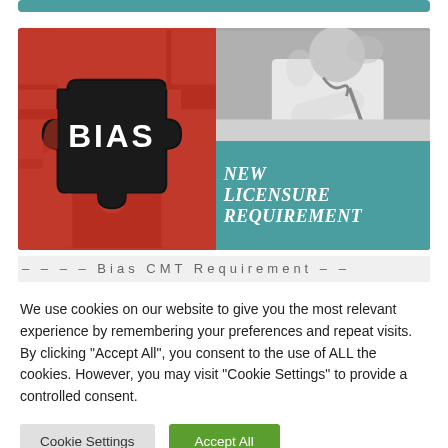[Figure (illustration): Banner image with two halves: left side shows a red puzzle piece with 'BIAS' written in white bold text on a dark puzzle piece cutout; right side shows a grayscale photo of a doctor writing, with a teal overlay at bottom reading 'NEW LICENSURE REQUIREMENT' in white serif italic text.]
We use cookies on our website to give you the most relevant experience by remembering your preferences and repeat visits. By clicking "Accept All", you consent to the use of ALL the cookies. However, you may visit "Cookie Settings" to provide a controlled consent.
Cookie Settings
Accept All